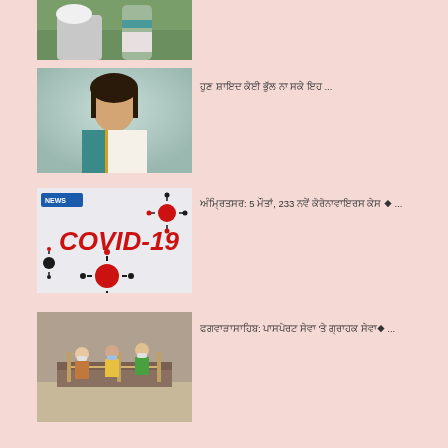[Figure (photo): Partial view of a man in white clothes and turban being attended to outdoors]
[Figure (photo): Woman in teal and white saree, official portrait]
ਹੁਣ ਸ਼ਾਇਦ ਕੋਈ ਭੁੱਲ ਨਾ ਸਕੇ ਇਹ ...
[Figure (photo): COVID-19 graphic with coronavirus imagery and red text]
ਅੰਮ੍ਰਿਤਸਰ: 5 ਮੌਤਾਂ, 233 ਨਵੇਂ ਕੋਰੋਨਾਵਾਇਰਸ ਕੇਸ ◆ ...
[Figure (photo): People at a government counter or office wearing masks]
ਫਗਵਾੜਾਸਾਹਿਬ: ਪਾਸਪੋਰਟ ਸੇਵਾ 'ਤੇ ਗ੍ਰਾਹਕ ਸੇਵਾ◆ ...